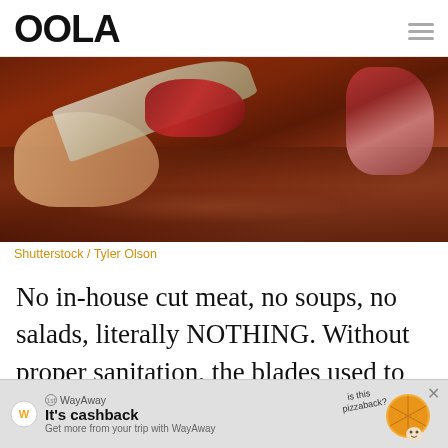OOLA
[Figure (photo): A person's hand holding a large knife/cleaver cutting red meat on a dark wooden butcher block board, with other cuts of meat visible to the right.]
Shutterstock / Tyler Olson
No in-house cut meat, no soups, no salads, literally NOTHING. Without proper sanitation, the blades used to slice meats can be a threshold for bacteria. The USDA does
[Figure (infographic): WayAway advertisement banner: logo icon, 'It\'s cashback' headline, 'Get more from your trip with WayAway' subtext, and an illustration of a pizza with text 'is this pizzaback?' and a cartoon character, with X close button.]